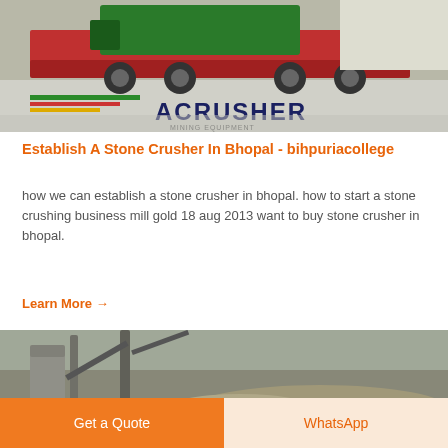[Figure (photo): Photo of a large green mining machine on a flatbed truck, with ACRUSHER Mining Equipment logo and colored stripes (green, red, yellow) visible at the bottom of the image. A LIVE CHAT speech bubble icon appears in the top right.]
Establish A Stone Crusher In Bhopal - bihpuriacollege
how we can establish a stone crusher in bhopal. how to start a stone crushing business mill gold 18 aug 2013 want to buy stone crusher in bhopal.
Learn More →
[Figure (photo): Photo of a stone crushing facility with industrial conveyors and machinery, large piles of crushed stone/aggregate visible in the background.]
Get a Quote
WhatsApp